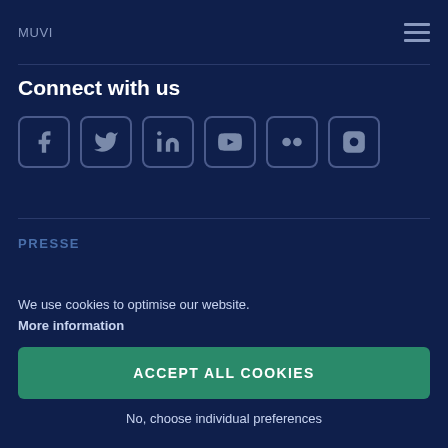MUVI
Connect with us
[Figure (other): Social media icons: Facebook, Twitter, LinkedIn, YouTube, Flickr, Instagram]
PRESSE
We use cookies to optimise our website. More information
ACCEPT ALL COOKIES
No, choose individual preferences